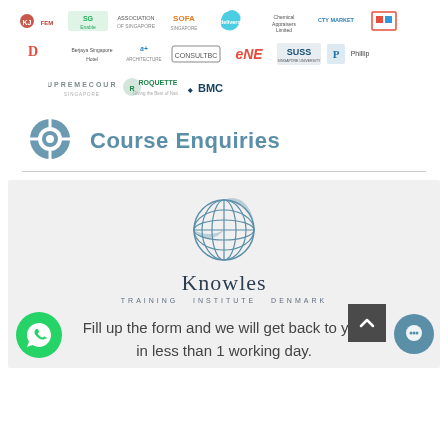[Figure (logo): Grid of company logos including KJFEM, SG Enable, Deliveroo, Chemical Appraisers Limited, SUSS, Phillip, ONE, ConsulTeBC, Supreme Court Singapore, Roquette, BMC and others]
Course Enquiries
[Figure (logo): Knowles Training Institute Denmark globe logo with text 'Knowles TRAINING INSTITUTE DENMARK']
Fill up the form and we will get back to you in less than 1 working day.